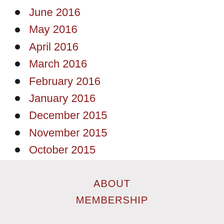June 2016
May 2016
April 2016
March 2016
February 2016
January 2016
December 2015
November 2015
October 2015
June 2015
April 2015
ABOUT
MEMBERSHIP